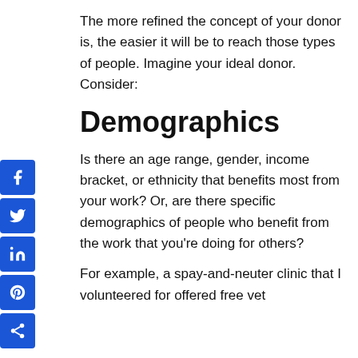The more refined the concept of your donor is, the easier it will be to reach those types of people. Imagine your ideal donor. Consider:
Demographics
Is there an age range, gender, income bracket, or ethnicity that benefits most from your work? Or, are there specific demographics of people who benefit from the work that you’re doing for others?
For example, a spay-and-neuter clinic that I volunteered for offered free vet